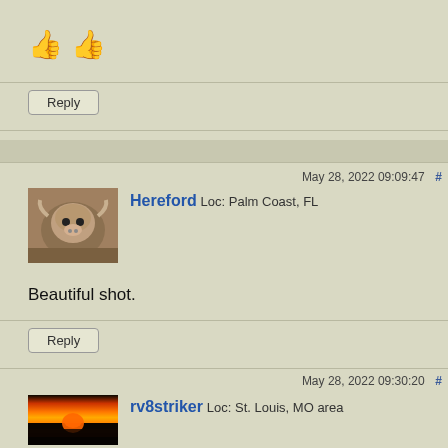[Figure (other): Two thumbs-up smiley face emoji icons]
Reply
May 28, 2022 09:09:47  #
[Figure (photo): Profile avatar of Hereford user showing a close-up of a Hereford bull face]
Hereford  Loc: Palm Coast, FL
Beautiful shot.
Reply
May 28, 2022 09:30:20  #
[Figure (photo): Profile avatar of rv8striker user showing a sunset landscape with orange and red sky]
rv8striker  Loc: St. Louis, MO area